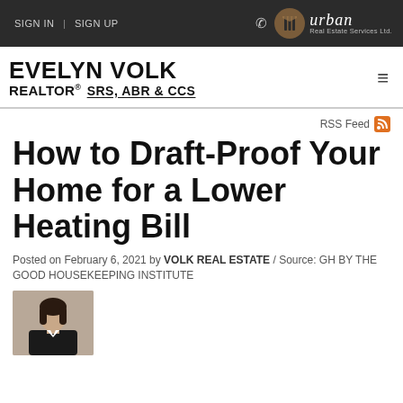SIGN IN | SIGN UP   urban Real Estate Services Ltd.
[Figure (logo): Evelyn Volk Realtor SRS, ABR & CCS logo with hamburger menu icon]
RSS Feed
How to Draft-Proof Your Home for a Lower Heating Bill
Posted on February 6, 2021 by VOLK REAL ESTATE / Source: GH BY THE GOOD HOUSEKEEPING INSTITUTE
[Figure (photo): Author portrait photo, woman in dark blazer]